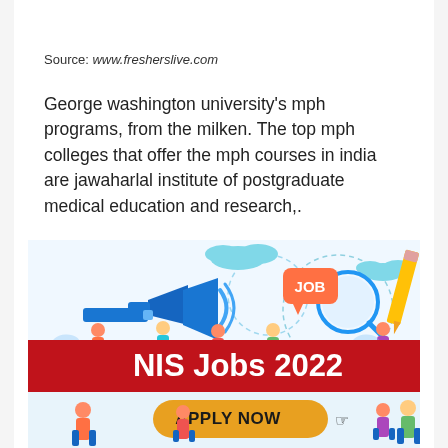Source: www.fresherslive.com
George washington university's mph programs, from the milken. The top mph colleges that offer the mph courses in india are jawaharlal institute of postgraduate medical education and research,.
[Figure (illustration): Job search themed illustration showing people, a megaphone, magnifying glass, pencil, speech bubble with 'JOB', and figures of workers. Includes a red banner reading 'NIS Jobs 2022' and an orange 'APPLY NOW' button with a pointer hand cursor.]